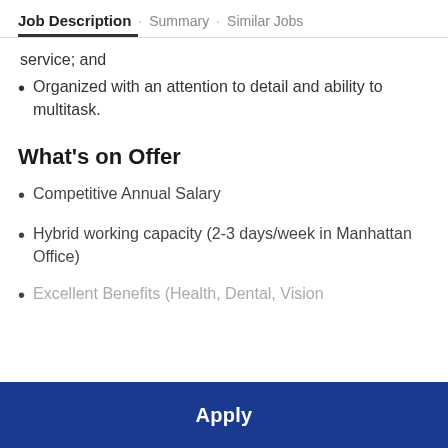Job Description · Summary · Similar Jobs
service; and
Organized with an attention to detail and ability to multitask.
What's on Offer
Competitive Annual Salary
Hybrid working capacity (2-3 days/week in Manhattan Office)
Excellent Benefits (Health, Dental, Vision
Apply